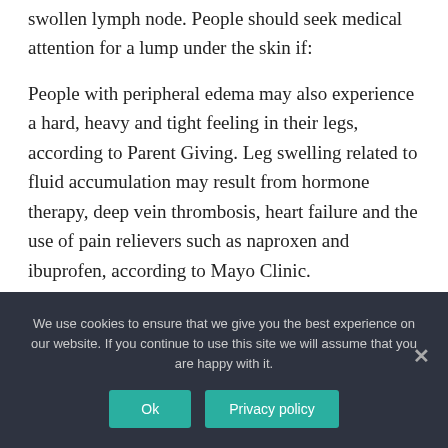swollen lymph node. People should seek medical attention for a lump under the skin if:
People with peripheral edema may also experience a hard, heavy and tight feeling in their legs, according to Parent Giving. Leg swelling related to fluid accumulation may result from hormone therapy, deep vein thrombosis, heart failure and the use of pain relievers such as naproxen and ibuprofen, according to Mayo Clinic.
We use cookies to ensure that we give you the best experience on our website. If you continue to use this site we will assume that you are happy with it. Ok  Privacy policy